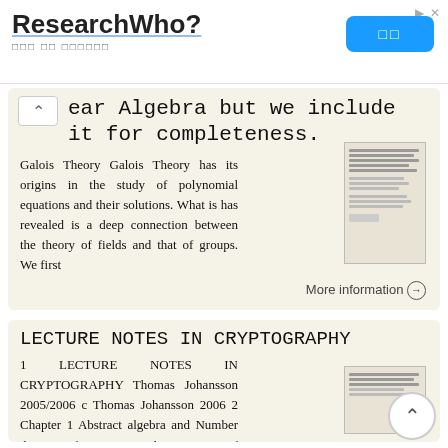[Figure (screenshot): Advertisement banner for ResearchWho? with Korean subtitle text and a blue button]
ear Algebra but we include it for completeness.
Galois Theory Galois Theory has its origins in the study of polynomial equations and their solutions. What is has revealed is a deep connection between the theory of fields and that of groups. We first
More information →
LECTURE NOTES IN CRYPTOGRAPHY
1 LECTURE NOTES IN CRYPTOGRAPHY Thomas Johansson 2005/2006 c Thomas Johansson 2006 2 Chapter 1 Abstract algebra and Number theory Before we start the treatment of cryptography we need to review